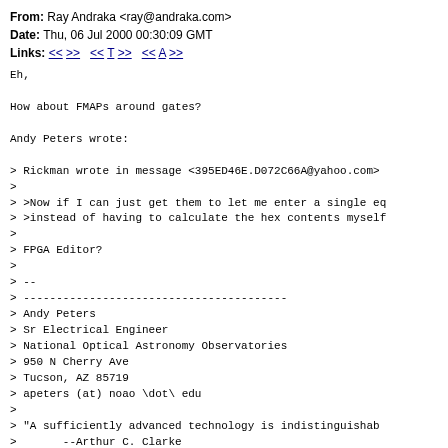From: Ray Andraka <ray@andraka.com>
Date: Thu, 06 Jul 2000 00:30:09 GMT
Links: << >> << T >> << A >>
Eh,

How about FMAPs around gates?

Andy Peters wrote:

> Rickman wrote in message <395ED46E.D072C66A@yahoo.com>
> 
> >Now if I can just get them to let me enter a single eq
> >instead of having to calculate the hex contents myself
> 
> FPGA Editor?
> 
> --
> ----------------------------------------
> Andy Peters
> Sr Electrical Engineer
> National Optical Astronomy Observatories
> 950 N Cherry Ave
> Tucson, AZ 85719
> apeters (at) noao \dot\ edu
> 
> "A sufficiently advanced technology is indistinguishab
>       --Arthur C. Clarke

--